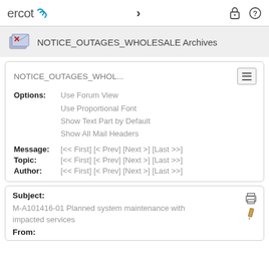ercot > [lock icon] [help icon]
NOTICE_OUTAGES_WHOLESALE Archives
NOTICE_OUTAGES_WHOL...
Options: Use Forum View
Use Proportional Font
Show Text Part by Default
Show All Mail Headers
Message: [<< First] [< Prev] [Next >] [Last >>]
Topic: [<< First] [< Prev] [Next >] [Last >>]
Author: [<< First] [< Prev] [Next >] [Last >>]
Subject: M-A101416-01 Planned system maintenance with impacted services
From: